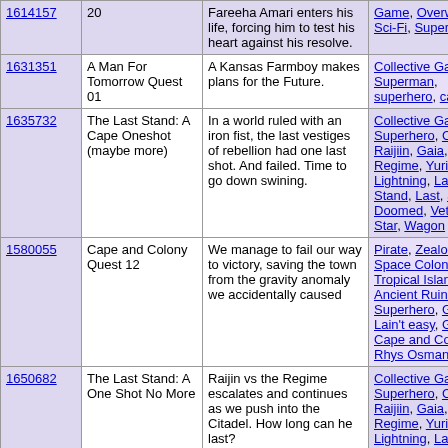| ID | Title | Description | Tags |
| --- | --- | --- | --- |
| 1614157 | 20 | Fareeha Amari enters his life, forcing him to test his heart against his resolve. | Game, Overwatch, Sci-Fi, Superhero |
| 1631351 | A Man For Tomorrow Quest 01 | A Kansas Farmboy makes plans for the Future. | Collective Game, Superman, superhero, cape |
| 1635732 | The Last Stand: A Cape Oneshot (maybe more) | In a world ruled with an iron fist, the last vestiges of rebellion had one last shot. And failed. Time to go down swining. | Collective Game, Superhero, Cape, Raijiin, Gaia, Earth, Regime, Yuri, Lightning, Last Stand, Last, Stand, Doomed, Veteran, Star, Wagon |
| 1580055 | Cape and Colony Quest 12 | We manage to fail our way to victory, saving the town from the gravity anomaly we accidentally caused | Pirate, Zealot, Space Colony, Tropical Islands, Ancient Ruins, Superhero, Gigolo Life ain't easy, Genie, Cape and Colony, Rhys Osman |
| 1650682 | The Last Stand: A One Shot No More | Raijin vs the Regime escalates and continues as we push into the Citadel. How long can he last? | Collective Game, Superhero, Cape, Raijiin, Gaia, Earth, Regime, Yuri, Lightning, Last Stand, Last, Stand, Doomed, Veteran, Star, Wagon |
| 1617022 | Cape and Colony | We begin the lengthy process of dealing | Pirate, Zealot, Space Colony, Tropical Islands, Ancient Ruins, Superhero, Gigolo... |